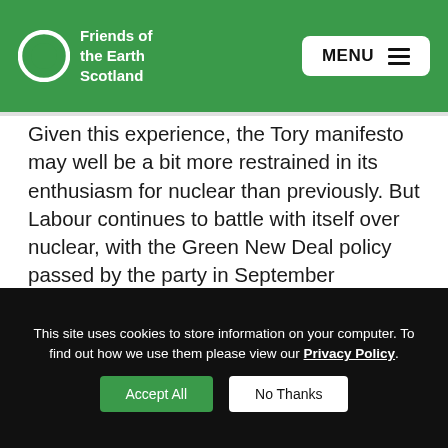Friends of the Earth Scotland — MENU
Given this experience, the Tory manifesto may well be a bit more restrained in its enthusiasm for nuclear than previously. But Labour continues to battle with itself over nuclear, with the Green New Deal policy passed by the party in September including a commitment to investment in renewables and ‘low-carbon energy’ – code for more nuclear reactors. Labour have even previously suggested the government would take a financial stake in struggling nuclear projects.
This site uses cookies to store information on your computer. To find out how we use them please view our Privacy Policy.